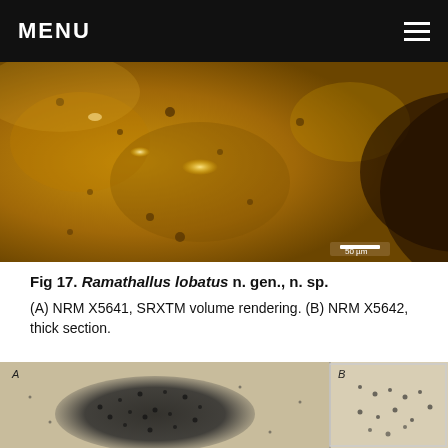MENU
[Figure (photo): Microscope image of Ramathallus lobatus fossil in amber/resin, showing dark brown organic material with bright reflective spots, scale bar 50 µm]
Fig 17. Ramathallus lobatus n. gen., n. sp.
(A) NRM X5641, SRXTM volume rendering. (B) NRM X5642, thick section.
[Figure (photo): Microscope images of Ramathallus lobatus fossil sections showing dark circular/lobate structures against pale matrix, with panels A and B labeled]